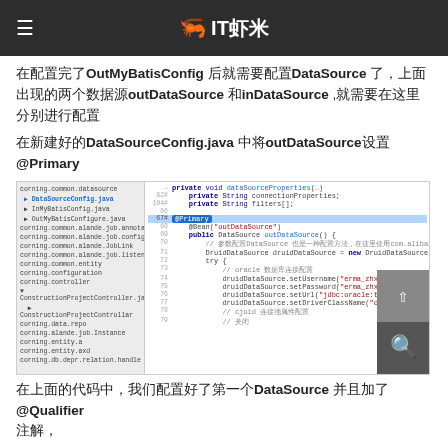🦐 IT虾米
在配置完了OutMyBatisConfig 后就需要配置DataSource 了，上面出现的两个数据源outDataSource 和inDataSource ,就需要在这里分别进行配置
在新建好的DataSourceConfig.java 中将outDataSource设置@Primary
[Figure (screenshot): IDE code editor screenshot showing Java DataSourceConfig code with @Primary annotation highlighted on outDataSource method, file tree visible on left side with DataSourceConfig.java selected]
在上面的代码中，我们配置好了第一个DataSource 并且加了@Qualifier
注解，